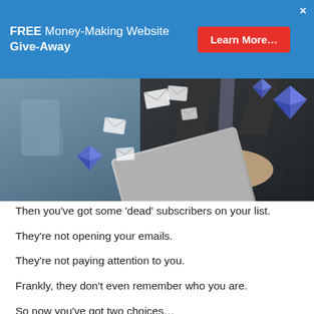FREE Money-Making Website Give-Away  Learn More...
[Figure (photo): Business person in dark suit holding a laptop with floating email envelope icons and blue diamond shapes around them, blurred office background]
Then you’ve got some ‘dead’ subscribers on your list.
They’re not opening your emails.
They’re not paying attention to you.
Frankly, they don’t even remember who you are.
So now you’ve got two choices…